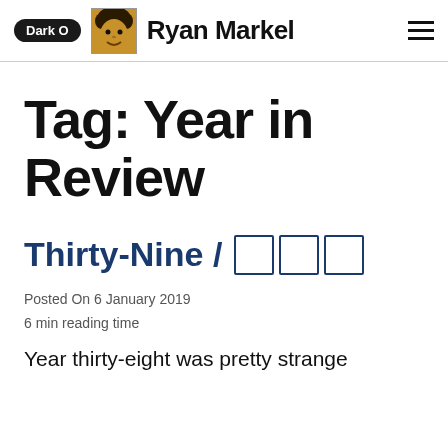Dark O  Ryan Markel
Tag: Year in Review
Thirty-Nine / 三十九
Posted On 6 January 2019
6 min reading time
Year thirty-eight was pretty strange